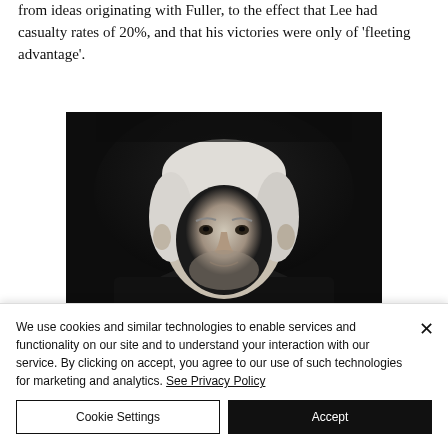from ideas originating with Fuller, to the effect that Lee had casualty rates of 20%, and that his victories were only of 'fleeting advantage'.
[Figure (photo): Black and white portrait photograph of an older man with white hair, cropped to show head and upper shoulders against a dark background.]
We use cookies and similar technologies to enable services and functionality on our site and to understand your interaction with our service. By clicking on accept, you agree to our use of such technologies for marketing and analytics. See Privacy Policy